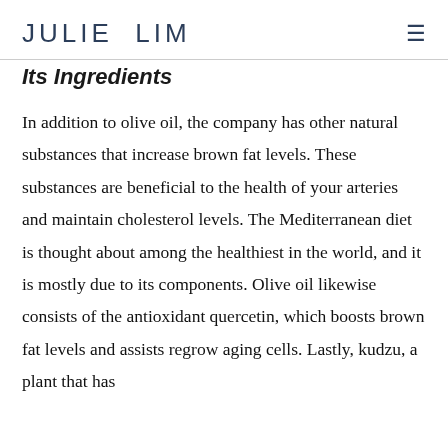JULIE LIM
Its Ingredients
In addition to olive oil, the company has other natural substances that increase brown fat levels. These substances are beneficial to the health of your arteries and maintain cholesterol levels. The Mediterranean diet is thought about among the healthiest in the world, and it is mostly due to its components. Olive oil likewise consists of the antioxidant quercetin, which boosts brown fat levels and assists regrow aging cells. Lastly, kudzu, a plant that has